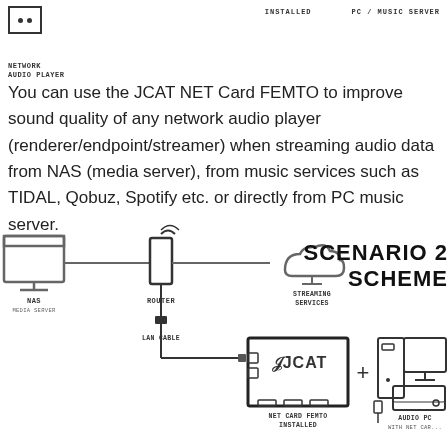[Figure (illustration): Network audio player device icon (small box with two dots)]
NETWORK
AUDIO PLAYER
INSTALLED    PC / MUSIC SERVER
You can use the JCAT NET Card FEMTO to improve sound quality of any network audio player (renderer/endpoint/streamer) when streaming audio data from NAS (media server), from music services such as TIDAL, Qobuz, Spotify etc. or directly from PC music server.
[Figure (schematic): Scenario 2 Scheme diagram showing NAS (media server) connected to Router, which connects to Streaming Services (cloud) and via LAN Cable down to a JCAT NET Card FEMTO installed in a PC, plus an Audio PC with net card. Labels: NAS MEDIA SERVER, ROUTER, STREAMING SERVICES, LAN CABLE, NET CARD FEMTO INSTALLED, AUDIO PC WITH NET CARD, SCENARIO 2 SCHEME]